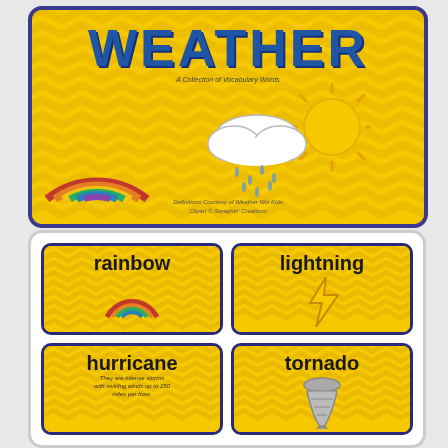[Figure (illustration): Weather vocabulary title card with yellow chevron background, rainbow, rain cloud, sun clipart, and large blue WEATHER title text. Subtitle: A Collection of Vocabulary Words. Credits at bottom.]
[Figure (illustration): Four weather vocabulary word cards in a 2x2 grid on yellow chevron backgrounds: rainbow (with rainbow illustration), lightning (with lightning bolt), hurricane (with text description), tornado (with tornado illustration)]